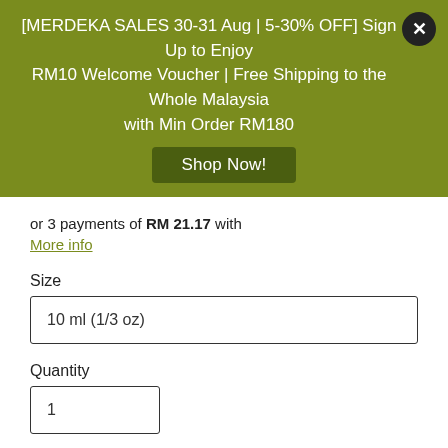[MERDEKA SALES 30-31 Aug | 5-30% OFF] Sign Up to Enjoy RM10 Welcome Voucher | Free Shipping to the Whole Malaysia with Min Order RM180
Shop Now!
or 3 payments of RM 21.17 with
More info
Size
10 ml (1/3 oz)
Quantity
1
Buy Now
Add to Cart